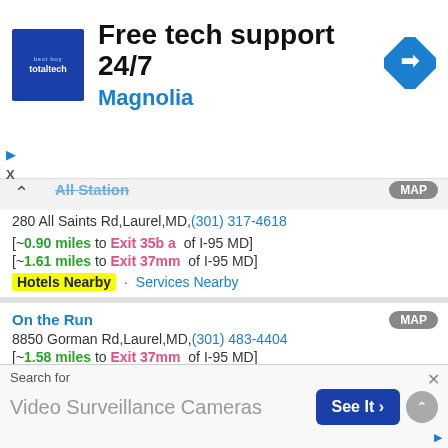[Figure (screenshot): Advertisement banner for Magnolia TotalTech showing 'Free tech support 24/7' with blue logo and navigation arrow icon]
All Station — 280 All Saints Rd, Laurel, MD, (301) 317-4618
[~0.90 miles to Exit 35b a of I-95 MD]
[~1.61 miles to Exit 37mm of I-95 MD]
Hotels Nearby · Services Nearby
On the Run
8850 Gorman Rd, Laurel, MD, (301) 483-4404
[~1.58 miles to Exit 37mm of I-95 MD]
[~1.90 miles to Exit 38b a of I-95 MD]
Hotels Nearby · Services Nearby
Laurel Lakes BP
Search for
Video Surveillance Cameras   See It >